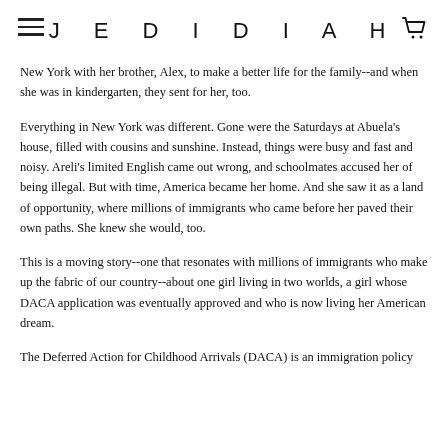JEDIDIAH
New York with her brother, Alex, to make a better life for the family--and when she was in kindergarten, they sent for her, too.
Everything in New York was different. Gone were the Saturdays at Abuela's house, filled with cousins and sunshine. Instead, things were busy and fast and noisy. Areli's limited English came out wrong, and schoolmates accused her of being illegal. But with time, America became her home. And she saw it as a land of opportunity, where millions of immigrants who came before her paved their own paths. She knew she would, too.
This is a moving story--one that resonates with millions of immigrants who make up the fabric of our country--about one girl living in two worlds, a girl whose DACA application was eventually approved and who is now living her American dream.
The Deferred Action for Childhood Arrivals (DACA) is an immigration policy